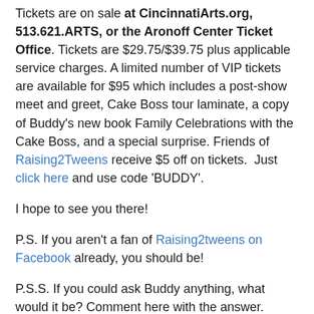Tickets are on sale at CincinnatiArts.org, 513.621.ARTS, or the Aronoff Center Ticket Office. Tickets are $29.75/$39.75 plus applicable service charges. A limited number of VIP tickets are available for $95 which includes a post-show meet and greet, Cake Boss tour laminate, a copy of Buddy's new book Family Celebrations with the Cake Boss, and a special surprise. Friends of Raising2Tweens receive $5 off on tickets. Just click here and use code 'BUDDY'.
I hope to see you there!
P.S. If you aren't a fan of Raising2tweens on Facebook already, you should be!
P.S.S. If you could ask Buddy anything, what would it be? Comment here with the answer.